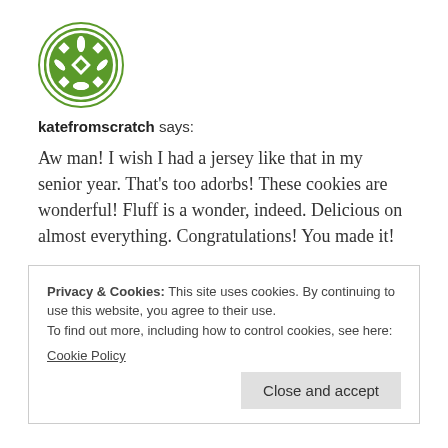[Figure (logo): Circular green logo with white geometric snowflake/diamond pattern inside]
katefromscratch says:
Aw man! I wish I had a jersey like that in my senior year. That’s too adorbs! These cookies are wonderful! Fluff is a wonder, indeed. Delicious on almost everything. Congratulations! You made it!
★ Like
Privacy & Cookies: This site uses cookies. By continuing to use this website, you agree to their use.
To find out more, including how to control cookies, see here:
Cookie Policy
Close and accept